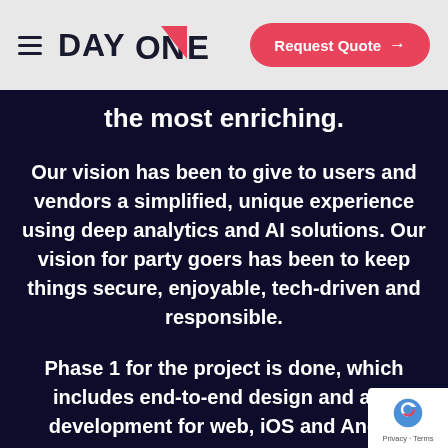[Figure (logo): DAY ONE logo with hamburger menu icon on left, 'Request Quote →' button on right in pink/red rounded pill]
the most enriching.
Our vision has been to give to users and vendors a simplified, unique experience using deep analytics and AI solutions. Our vision for party goers has been to keep things secure, enjoyable, tech-driven and responsible.
Phase 1 for the project is done, which includes end-to-end design and app development for web, iOS and Andro